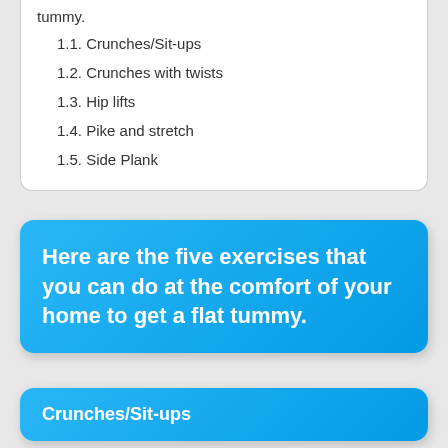tummy.
1.1. Crunches/Sit-ups
1.2. Crunches with twists
1.3. Hip lifts
1.4. Pike and stretch
1.5. Side Plank
Here are the five exercises that you can do at the comfort of your home to get a flat tummy.
Crunches/Sit-ups